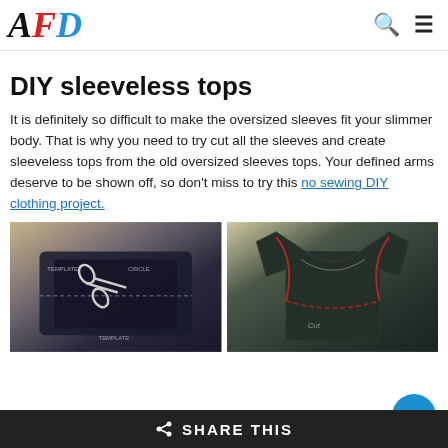AFD [logo with search and menu icons]
DIY sleeveless tops
It is definitely so difficult to make the oversized sleeves fit your slimmer body. That is why you need to try cut all the sleeves and create sleeveless tops from the old oversized sleeves tops. Your defined arms deserve to be shown off, so don't miss to try this no sewing DIY clothing project.
[Figure (photo): Two side-by-side photos: left shows a dark folded t-shirt with scissors and cutting markings on a light background; right shows a dark t-shirt laid flat with red drawn cutting lines indicating where to cut sleeves.]
SHARE THIS